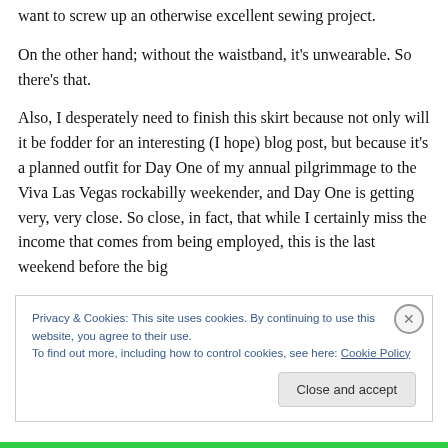want to screw up an otherwise excellent sewing project.
On the other hand; without the waistband, it's unwearable. So there's that.
Also, I desperately need to finish this skirt because not only will it be fodder for an interesting (I hope) blog post, but because it's a planned outfit for Day One of my annual pilgrimmage to the Viva Las Vegas rockabilly weekender, and Day One is getting very, very close. So close, in fact, that while I certainly miss the income that comes from being employed, this is the last weekend before the big
Privacy & Cookies: This site uses cookies. By continuing to use this website, you agree to their use.
To find out more, including how to control cookies, see here: Cookie Policy